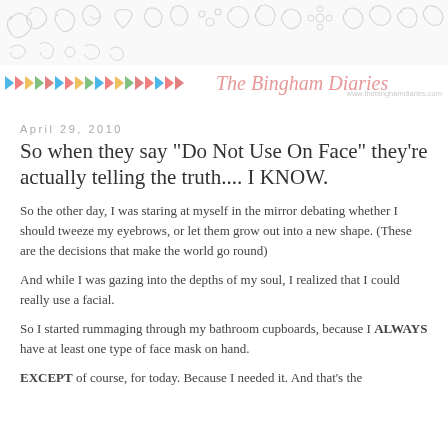[Figure (illustration): Decorative doodle banner with floral and swirl patterns in light gray lines on a white/light background]
The Bingham Diaries www.thebinghamdiaries.com
April 29, 2010
So when they say "Do Not Use On Face" they're actually telling the truth.... I KNOW.
So the other day, I was staring at myself in the mirror debating whether I should tweeze my eyebrows, or let them grow out into a new shape. (These are the decisions that make the world go round)
And while I was gazing into the depths of my soul, I realized that I could really use a facial.
So I started rummaging through my bathroom cupboards, because I ALWAYS have at least one type of face mask on hand.
EXCEPT of course, for today. Because I needed it. And that's the